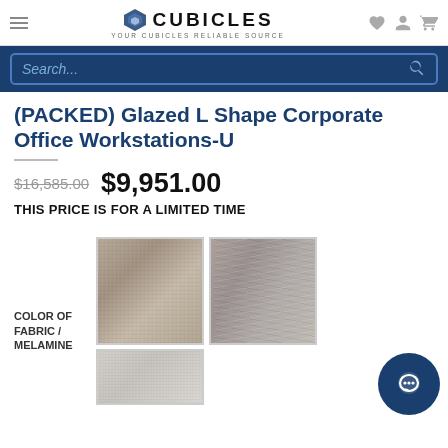CUBICLES — YOUR CUBICLES RELIABLE SOURCE
Search...
(PACKED) Glazed L Shape Corporate Office Workstations-U
$16,585.00  $9,951.00
THIS PRICE IS FOR A LIMITED TIME
COLOR OF FABRIC / MELAMINE
[Figure (photo): Three fabric/melamine color swatches: top-left is a warm beige/tan woven fabric, top-right is a gray wood-grain melamine, bottom-left is a light gray fabric. A chat bubble icon is visible in the bottom-right corner.]